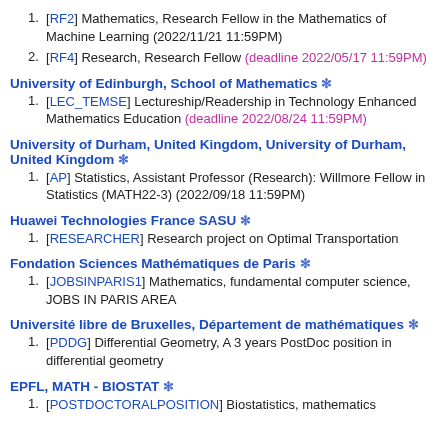[RF2] Mathematics, Research Fellow in the Mathematics of Machine Learning (2022/11/21 11:59PM)
[RF4] Research, Research Fellow (deadline 2022/05/17 11:59PM)
University of Edinburgh, School of Mathematics *
[LEC_TEMSE] Lectureship/Readership in Technology Enhanced Mathematics Education (deadline 2022/08/24 11:59PM)
University of Durham, United Kingdom, University of Durham, United Kingdom *
[AP] Statistics, Assistant Professor (Research): Willmore Fellow in Statistics (MATH22-3) (2022/09/18 11:59PM)
Huawei Technologies France SASU *
[RESEARCHER] Research project on Optimal Transportation
Fondation Sciences Mathématiques de Paris *
[JOBSINPARIS1] Mathematics, fundamental computer science, JOBS IN PARIS AREA
Université libre de Bruxelles, Département de mathématiques *
[PDDG] Differential Geometry, A 3 years PostDoc position in differential geometry
EPFL, MATH - BIOSTAT *
[POSTDOCTORALPOSITION] Biostatistics, mathematics